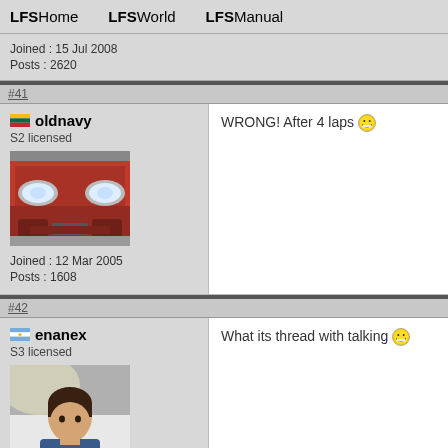LFSHome   LFSWorld   LFSManual
Joined : 15 Jul 2008
Posts : 2620
#41
oldnavy
S2 licensed
Joined : 12 Mar 2005
Posts : 1608
WRONG! After 4 laps 😁
#42
enanex
S3 licensed
What its thread with talking 😁